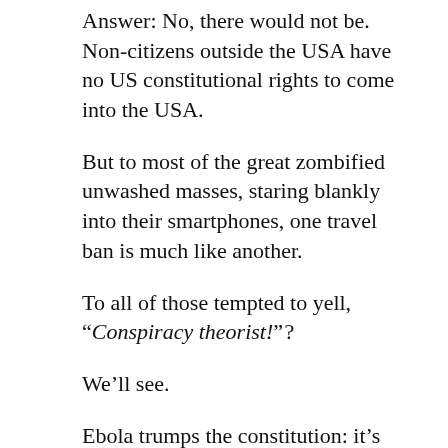Answer: No, there would not be. Non-citizens outside the USA have no US constitutional rights to come into the USA.
But to most of the great zombified unwashed masses, staring blankly into their smartphones, one travel ban is much like another.
To all of those tempted to yell, “Conspiracy theorist!” ?
We’ll see.
Ebola trumps the constitution: it’s that simple. Does the reader believe that three weeks of constantindoctrination of FEAR of EBOLA will